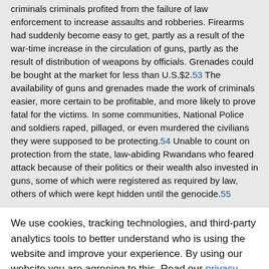criminals criminals profited from the failure of law enforcement to increase assaults and robberies. Firearms had suddenly become easy to get, partly as a result of the war-time increase in the circulation of guns, partly as the result of distribution of weapons by officials. Grenades could be bought at the market for less than U.S.$2.53 The availability of guns and grenades made the work of criminals easier, more certain to be profitable, and more likely to prove fatal for the victims. In some communities, National Police and soldiers raped, pillaged, or even murdered the civilians they were supposed to be protecting.54 Unable to count on protection from the state, law-abiding Rwandans who feared attack because of their politics or their wealth also invested in guns, some of which were registered as required by law, others of which were kept hidden until the genocide.55
We use cookies, tracking technologies, and third-party analytics tools to better understand who is using the website and improve your experience. By using our website you are agreeing to this. Read our privacy policy to find out what cookies are used for and how to change your settings.